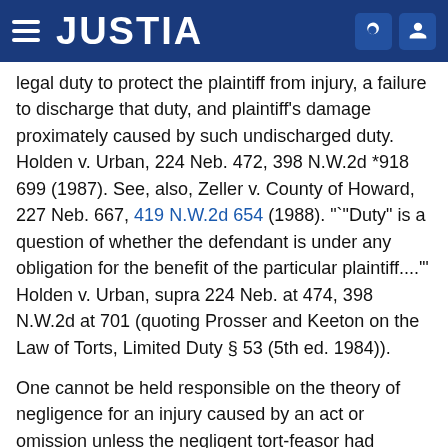JUSTIA
legal duty to protect the plaintiff from injury, a failure to discharge that duty, and plaintiff's damage proximately caused by such undischarged duty. Holden v. Urban, 224 Neb. 472, 398 N.W.2d *918 699 (1987). See, also, Zeller v. County of Howard, 227 Neb. 667, 419 N.W.2d 654 (1988). "`"Duty" is a question of whether the defendant is under any obligation for the benefit of the particular plaintiff....'” Holden v. Urban, supra 224 Neb. at 474, 398 N.W.2d at 701 (quoting Prosser and Keeton on the Law of Torts, Limited Duty § 53 (5th ed. 1984)).
One cannot be held responsible on the theory of negligence for an injury caused by an act or omission unless the negligent tort-feasor had knowledge or was reasonably charged with knowledge that the act or omission involved danger to another. Hoover's Dairy, Inc. v. Mid-America Dairymen, 700 S.W.2d 426 (Mo.1985);